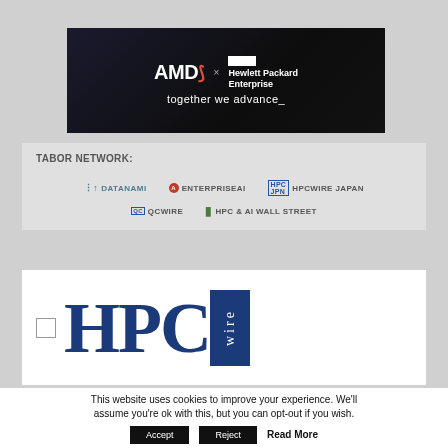[Figure (advertisement): AMD x Hewlett Packard Enterprise banner ad showing data center server racks in dark background with text 'together we advance_']
TABOR NETWORK:
[Figure (logo): Network logos row: DATANAMI, ENTERPRISEAI, HPCWIRE JAPAN, QCWIRE, HPC & AI WALL STREET]
[Figure (logo): HPCwire logo - large HPC letters in dark blue serif font with 'wire' in white on dark blue block]
This website uses cookies to improve your experience. We'll assume you're ok with this, but you can opt-out if you wish.
Accept   Reject   Read More